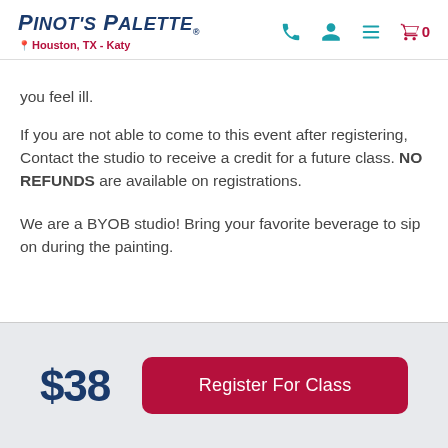Pinot's Palette — Houston, TX - Katy
you feel ill.
If you are not able to come to this event after registering, Contact the studio to receive a credit for a future class. NO REFUNDS are available on registrations.

We are a BYOB studio! Bring your favorite beverage to sip on during the painting.
$38
Register For Class